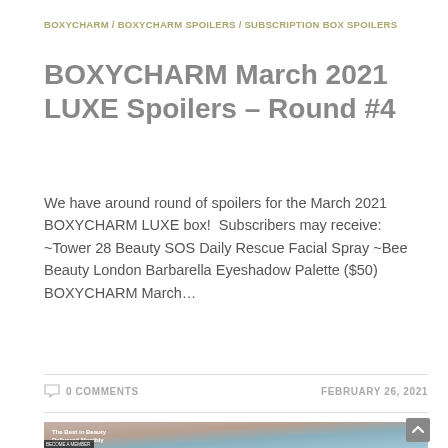BOXYCHARM / BOXYCHARM SPOILERS / SUBSCRIPTION BOX SPOILERS
BOXYCHARM March 2021 LUXE Spoilers – Round #4
We have around round of spoilers for the March 2021 BOXYCHARM LUXE box!  Subscribers may receive: ~Tower 28 Beauty SOS Daily Rescue Facial Spray ~Bee Beauty London Barbarella Eyeshadow Palette ($50) BOXYCHARM March…
0 COMMENTS
FEBRUARY 26, 2021
[Figure (photo): Photo banner showing beauty products including cosmetics, makeup palette, and skincare items with text 'The Best in Beauty Delivered Monthly']